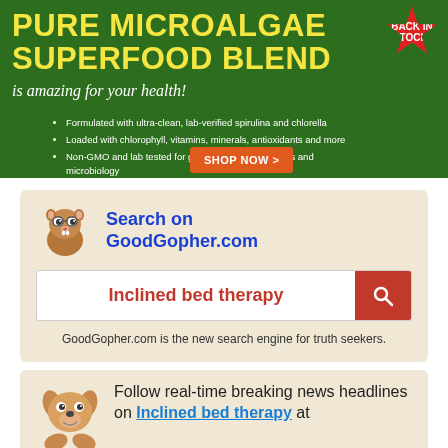[Figure (infographic): Green advertisement banner for Pure Microalgae Superfood Blend with yellow title text, bullet points, product image, and Shop Now button]
[Figure (infographic): Search widget for GoodGopher.com showing a gopher mascot, search bar with 'Inclined bed therapy', and tagline about being a search engine for truth seekers]
[Figure (infographic): News widget with dog mascot and text 'Follow real-time breaking news headlines on Inclined bed therapy at']